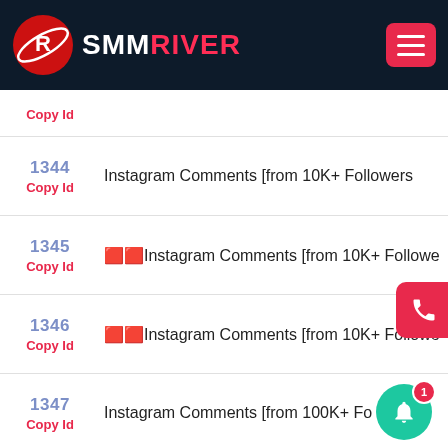[Figure (logo): SMMRiver logo with red circular emblem and white/red text on dark navy header]
| ID | Service Name |
| --- | --- |
|  | Copy Id |
| 1344 | Instagram Comments [from 10K+ Followers |
| 1345 | 🟥🟥Instagram Comments [from 10K+ Followers |
| 1346 | 🟥🟥Instagram Comments [from 10K+ Followers |
| 1347 | Instagram Comments [from 100K+ Fo... |